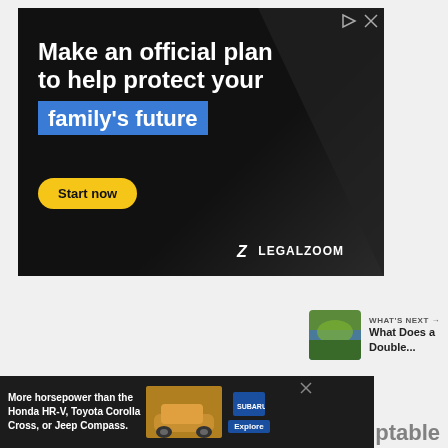[Figure (illustration): LegalZoom advertisement: black background with bold white text 'Make an official plan to help protect your' and blue highlighted text 'family's future', yellow 'Start now' button, LegalZoom logo at bottom right, play and close icons top right]
[Figure (other): Heart/like button (blue circle with heart icon), like count '1', and share button (white circle with share icon)]
WHAT'S NEXT → What Does a Double...
[Figure (photo): Thumbnail image of landscape/sky for 'What Does a Double...' next article]
[Figure (illustration): Subaru advertisement banner at bottom: 'More horsepower than the Honda HR-V, Toyota Corolla Cross, or Jeep Compass.' with yellow car image and Subaru logo with Explore button]
ptable